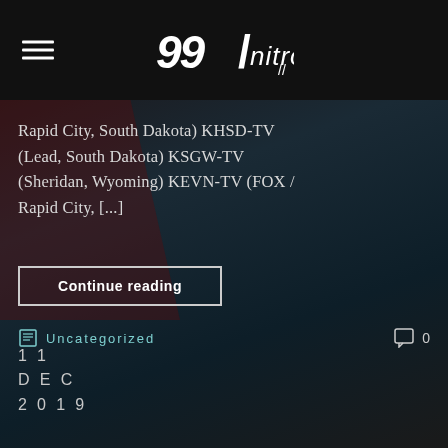99nitro logo and hamburger menu
Rapid City, South Dakota) KHSD-TV (Lead, South Dakota) KSGW-TV (Sheridan, Wyoming) KEVN-TV (FOX / Rapid City, [...]
Continue reading
Uncategorized   0
11 DEC 2019